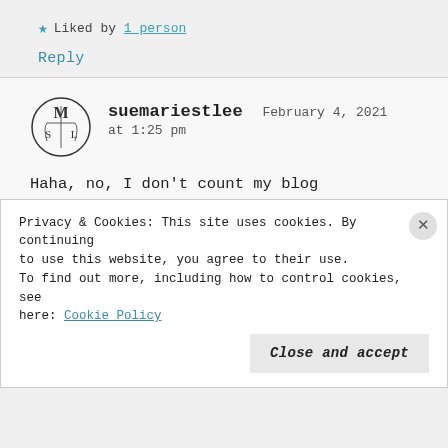★ Liked by 1 person
Reply
suemariestlee   February 4, 2021 at 1:25 pm
Haha, no, I don't count my blog posts, and this blog is sheer evidence of not keeping up with any
Privacy & Cookies: This site uses cookies. By continuing to use this website, you agree to their use. To find out more, including how to control cookies, see here: Cookie Policy
Close and accept